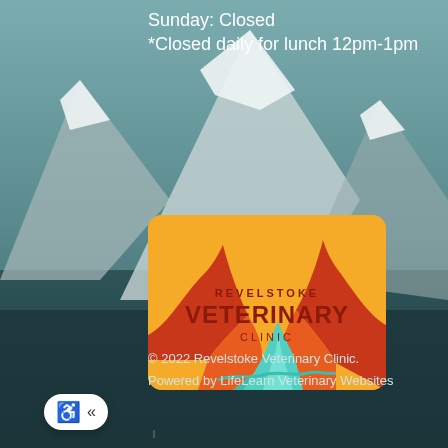Sunday: Closed
*Closed daily for lunch 12pm-1pm
[Figure (logo): Revelstoke Veterinary Clinic logo — yellow/orange banner with stylized red mountain peaks and teal river, text reads REVELSTOKE VETERINARY CLINIC]
© 2022 Revelstoke Veterinary Clinic.
Powered by LifeLearn Veterinary Websites